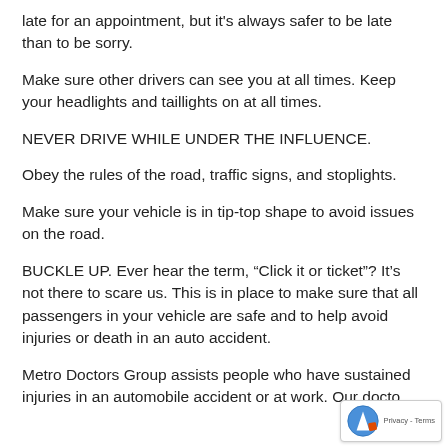late for an appointment, but it’s always safer to be late than to be sorry.
Make sure other drivers can see you at all times. Keep your headlights and taillights on at all times.
NEVER DRIVE WHILE UNDER THE INFLUENCE.
Obey the rules of the road, traffic signs, and stoplights.
Make sure your vehicle is in tip-top shape to avoid issues on the road.
BUCKLE UP. Ever hear the term, “Click it or ticket”? It’s not there to scare us. This is in place to make sure that all passengers in your vehicle are safe and to help avoid injuries or death in an auto accident.
Metro Doctors Group assists people who have sustained injuries in an automobile accident or at work. Our docto…